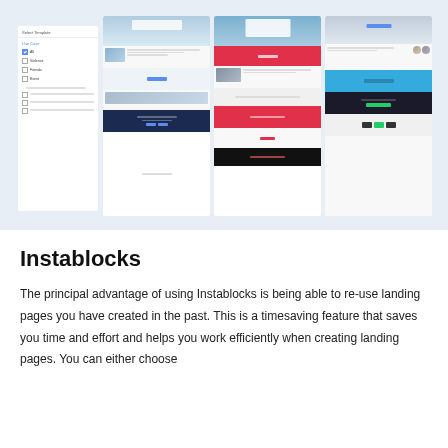[Figure (screenshot): Screenshot of a landing page template selector interface showing three template preview cards (mountain/nature themes, red accent sections, blue accent sections) alongside a left sidebar with 'Select Template', 'Use Case' filter options including checkboxes for All, Violence, Friends, Event, and other items.]
Instablocks
The principal advantage of using Instablocks is being able to re-use landing pages you have created in the past. This is a timesaving feature that saves you time and effort and helps you work efficiently when creating landing pages. You can either choose